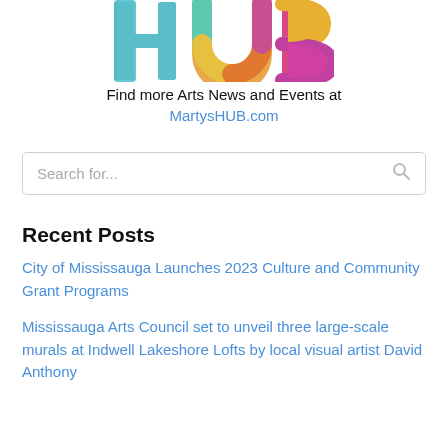[Figure (logo): Marty's HUB colorful logo: letter H in teal/blue, U as a donut arc in multicolor (orange, green, teal), B in pink/magenta/yellow]
Find more Arts News and Events at
MartysHUB.com
Search for...
Recent Posts
City of Mississauga Launches 2023 Culture and Community Grant Programs
Mississauga Arts Council set to unveil three large-scale murals at Indwell Lakeshore Lofts by local visual artist David Anthony